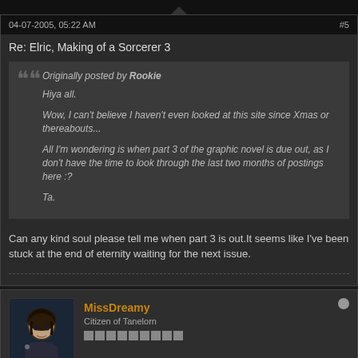04-07-2005, 05:22 AM    #5
Re: Elric, Making of a Sorcerer 3
Originally posted by Rookie
Hiya all.

Wow, I can't believe I haven't even looked at this site since Xmas or thereabouts...

All I'm wondering is when part 3 of the graphic novel is due out, as I don't have the time to look through the last two months of postings here :?

Ta.
Can any kind soul please tell me when part 3 is out.It seems like I've been stuck at the end of eternity waiting for the next issue.
MissDreamy
Citizen of Tanelorn